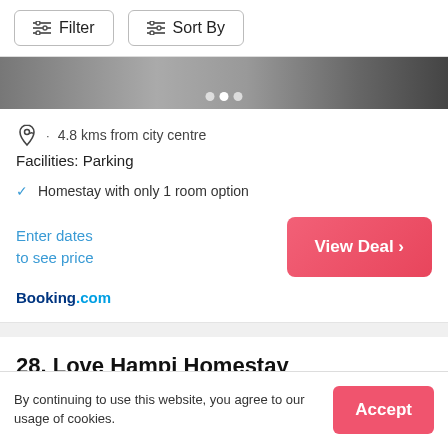Filter  Sort By
[Figure (photo): Hotel/homestay room photo strip with navigation dots]
4.8 kms from city centre
Facilities: Parking
Homestay with only 1 room option
Enter dates to see price
Booking.com
28. Love Hampi Homestay
[Figure (photo): Love Hampi Homestay photo strip]
By continuing to use this website, you agree to our usage of cookies.